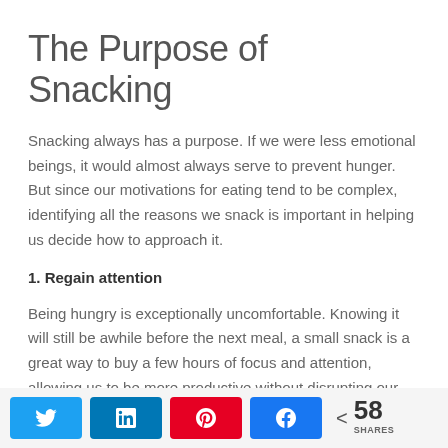The Purpose of Snacking
Snacking always has a purpose. If we were less emotional beings, it would almost always serve to prevent hunger. But since our motivations for eating tend to be complex, identifying all the reasons we snack is important in helping us decide how to approach it.
1. Regain attention
Being hungry is exceptionally uncomfortable. Knowing it will still be awhile before the next meal, a small snack is a great way to buy a few hours of focus and attention, allowing us to be more productive without disrupting our schedule.
2. Curb overeating
Social share buttons: Twitter, LinkedIn, Pinterest, Facebook | 58 SHARES